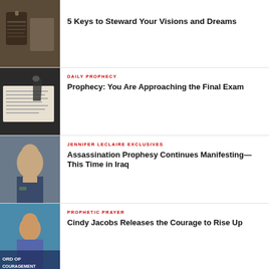[Figure (photo): Close-up of a key on a textured surface]
5 Keys to Steward Your Visions and Dreams
[Figure (photo): Person writing with a pen on paper]
DAILY PROPHECY
Prophecy: You Are Approaching the Final Exam
[Figure (photo): Older man in a suit speaking]
JENNIFER LECLAIRE EXCLUSIVES
Assassination Prophesy Continues Manifesting—This Time in Iraq
[Figure (photo): Woman with short dark hair, Word of Encouragement text overlay]
PROPHETIC PRAYER
Cindy Jacobs Releases the Courage to Rise Up
[Figure (photo): Landscape with mountains and a person]
PROPHETIC TEACHING
How to Use the Seer's Dictionary